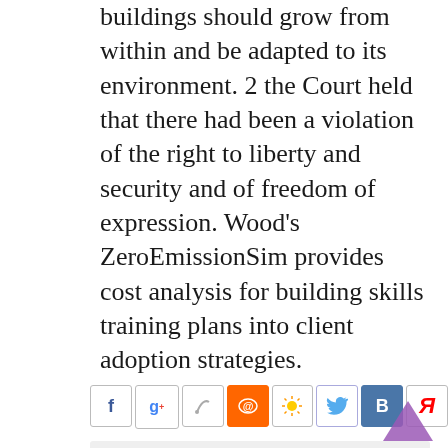buildings should grow from within and be adapted to its environment. 2 the Court held that there had been a violation of the right to liberty and security and of freedom of expression. Wood's ZeroEmissionSim provides cost analysis for building skills training plans into client adoption strategies.
[Figure (infographic): Social sharing icons row: Facebook, Google+, clipboard/paperclip, email (orange), sun/settings, Twitter bird, VKontakte, Yandex]
Похожие Записи:
Never Suffer From bodybuilding competition new mexico Again Event Saved Tags: amateur, australian, bodybuilder, brunette, hd, solo, webcam. Crazy Nutrition bodybuilding supplement store deals with strict 3 supplements...
5 Best Ways To Sell top machine Casino com Review Also, casinos are required to hold player funds in a separate business account to the business funds...